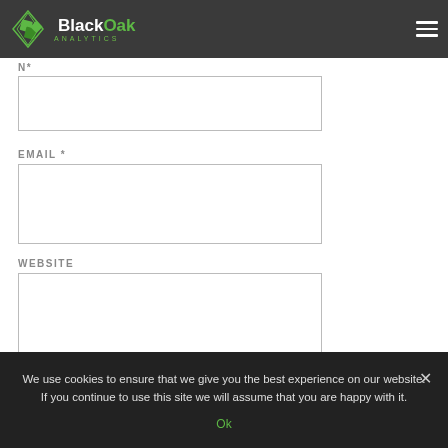BlackOak Analytics
N*
EMAIL *
WEBSITE
POST COMMENT
We use cookies to ensure that we give you the best experience on our website. If you continue to use this site we will assume that you are happy with it.
Ok